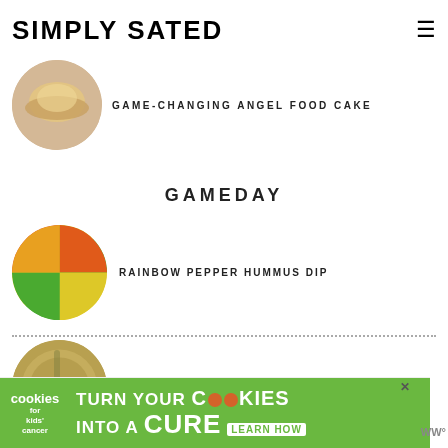SIMPLY SATED
GAME-CHANGING ANGEL FOOD CAKE
GAMEDAY
RAINBOW PEPPER HUMMUS DIP
JALAPENO POPPER DIP
[Figure (photo): Advertisement banner for 'cookies for kids cancer' — turn your cookies into a CURE, learn how]
turn your COOKIES into a CURE LEARN HOW